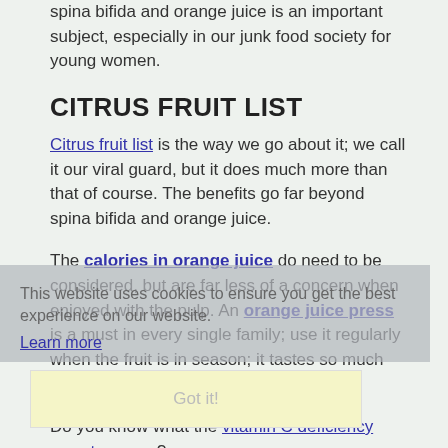spina bifida and orange juice is an important subject, especially in our junk food society for young women.
CITRUS FRUIT LIST
Citrus fruit list is the way we go about it; we call it our viral guard, but it does much more than that of course. The benefits go far beyond spina bifida and orange juice.
The calories in orange juice do need to be considered, but are far less of a concern when enjoyed with the pulp. An orange juice press is a must in every single family; use it regularly when the fruit is in season; it tastes so much better this way.
This website uses cookies to ensure you get the best experience on our website.
Learn more
Got it!
Do you know what the vitamin C deficiency symptoms are?